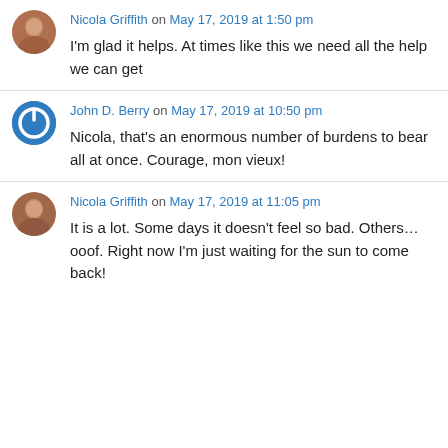Nicola Griffith on May 17, 2019 at 1:50 pm

I'm glad it helps. At times like this we need all the help we can get
John D. Berry on May 17, 2019 at 10:50 pm

Nicola, that's an enormous number of burdens to bear all at once. Courage, mon vieux!
Nicola Griffith on May 17, 2019 at 11:05 pm

It is a lot. Some days it doesn't feel so bad. Others…ooof. Right now I'm just waiting for the sun to come back!